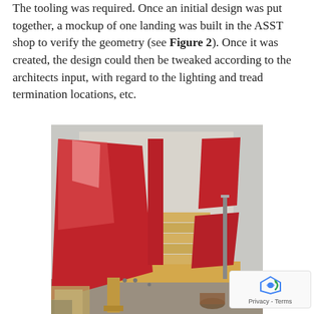The tooling was required. Once an initial design was put together, a mockup of one landing was built in the ASST shop to verify the geometry (see Figure 2). Once it was created, the design could then be tweaked according to the architects input, with regard to the lighting and tread termination locations, etc.
[Figure (photo): A mockup of a stair landing built in the ASST shop showing large angular red panels serving as guardrails/stringers, with wooden stair treads and a metal post visible in a workshop setting.]